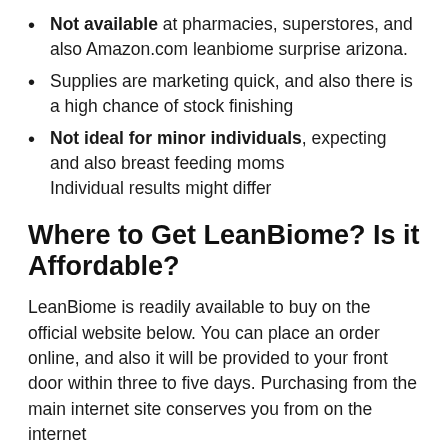Not available at pharmacies, superstores, and also Amazon.com leanbiome surprise arizona.
Supplies are marketing quick, and also there is a high chance of stock finishing
Not ideal for minor individuals, expecting and also breast feeding moms
Individual results might differ
Where to Get LeanBiome? Is it Affordable?
LeanBiome is readily available to buy on the official website below. You can place an order online, and also it will be provided to your front door within three to five days. Purchasing from the main internet site conserves you from on the internet